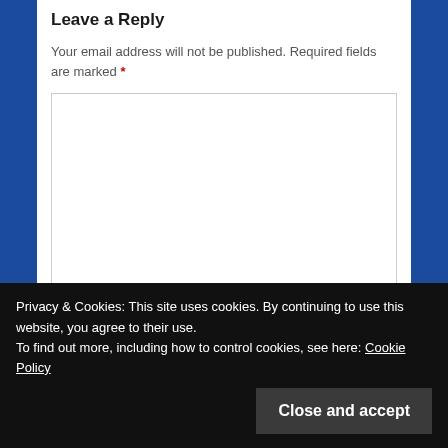Leave a Reply
Your email address will not be published. Required fields are marked *
Name*
Privacy & Cookies: This site uses cookies. By continuing to use this website, you agree to their use.
To find out more, including how to control cookies, see here: Cookie Policy
Close and accept